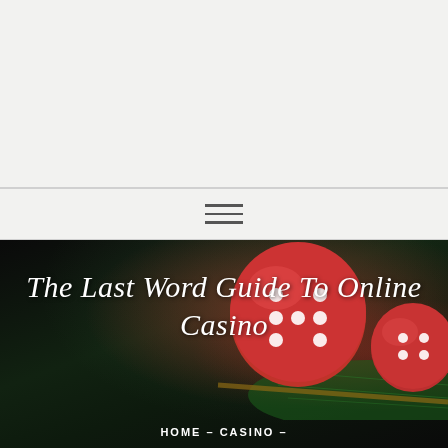[Figure (illustration): Hamburger menu icon with three horizontal lines on a light gray navigation bar]
[Figure (photo): Dark background with red dice on a green casino craps table with title overlay]
The Last Word Guide To Online Casino
HOME – CASINO –